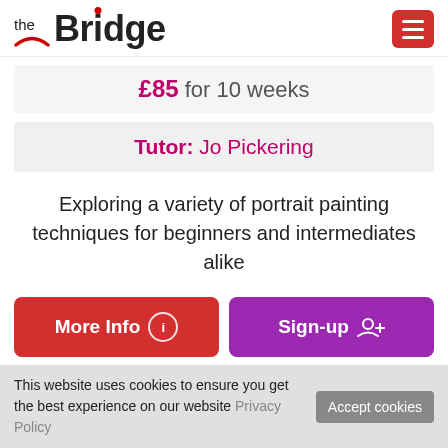[Figure (logo): The Bridge logo with red dot over letter 'i' and red arch underline, plus hamburger menu button in red]
£85 for 10 weeks
Tutor: Jo Pickering
Exploring a variety of portrait painting techniques for beginners and intermediates alike
More Info
Sign-up
This website uses cookies to ensure you get the best experience on our website Privacy Policy
Accept cookies